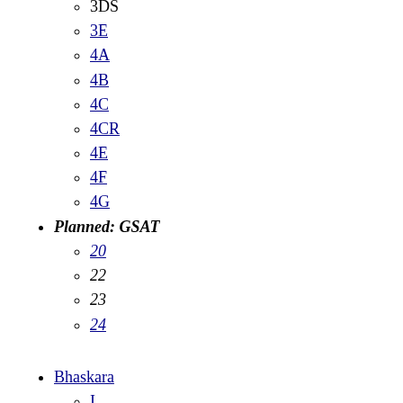3C
3D
3DR
3DS
3E
4A
4B
4C
4CR
4E
4F
4G
Planned: GSAT
20
22
23
24
Bhaskara
I
II
Cartosat
1
2
2A